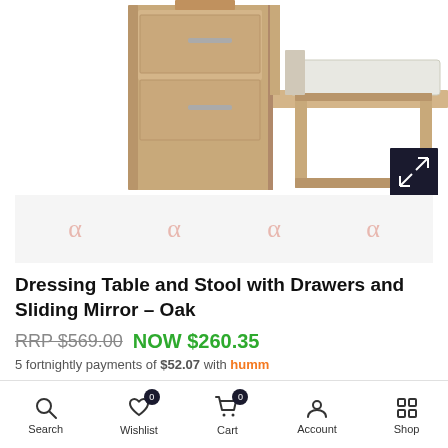[Figure (photo): Dressing table with drawers and stool with sliding mirror in oak finish, product photo on white background]
[Figure (other): Thumbnail image strip showing 4 small alpha/loop icons on light grey background, representing additional product image thumbnails]
Dressing Table and Stool with Drawers and Sliding Mirror – Oak
RRP $569.00  NOW $260.35
5 fortnightly payments of $52.07 with humm
Search  Wishlist 0  Cart 0  Account  Shop